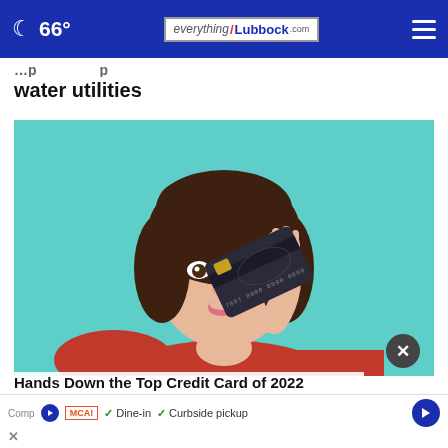66° everything Lubbock .com
water utilities
[Figure (photo): Woman in red sweater holding a dark credit card over one eye against a teal background, looking playfully at camera]
Hands Down the Top Credit Card of 2022
Comp ✓ Dine-in ✓ Curbside pickup